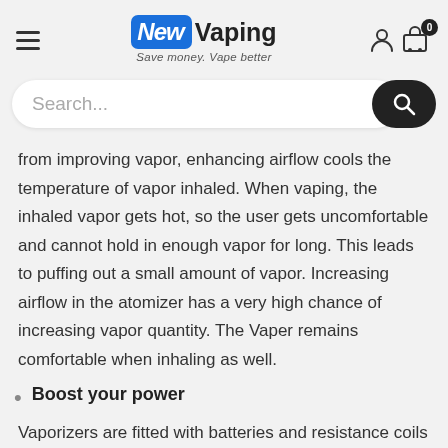[Figure (logo): New Vaping logo with blue badge containing stylized 'New' text, followed by 'Vaping' in dark text, and tagline 'Save money. Vape better' below]
[Figure (screenshot): Search bar with 'Search...' placeholder and dark search button with magnifying glass icon]
from improving vapor, enhancing airflow cools the temperature of vapor inhaled. When vaping, the inhaled vapor gets hot, so the user gets uncomfortable and cannot hold in enough vapor for long. This leads to puffing out a small amount of vapor. Increasing airflow in the atomizer has a very high chance of increasing vapor quantity. The Vaper remains comfortable when inhaling as well.
Boost your power
Vaporizers are fitted with batteries and resistance coils